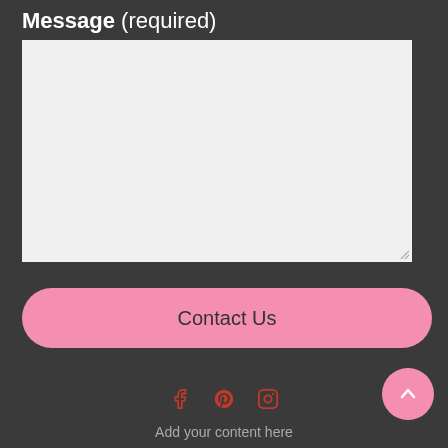Message (required)
[Figure (screenshot): A large empty textarea input box with a light gray background and a resize handle in the bottom-right corner]
Contact Us
[Figure (illustration): Pink circular scroll-to-top button with an upward chevron arrow]
[Figure (illustration): Social media icons: Facebook (f), Pinterest (P), Instagram camera icon, in red/pink color]
Add your content here